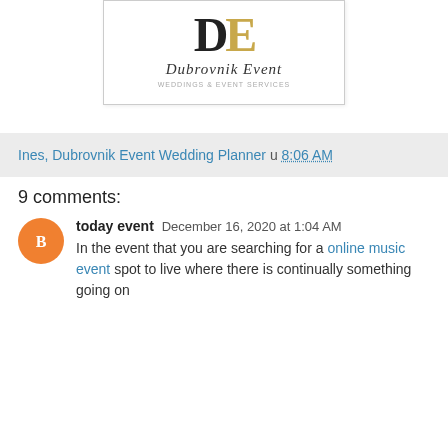[Figure (logo): Dubrovnik Event logo with stylized DE letters in black and gold, script text 'Dubrovnik Event' and small tagline below]
Ines, Dubrovnik Event Wedding Planner u 8:06 AM
9 comments:
today event  December 16, 2020 at 1:04 AM
In the event that you are searching for a online music event spot to live where there is continually something going on